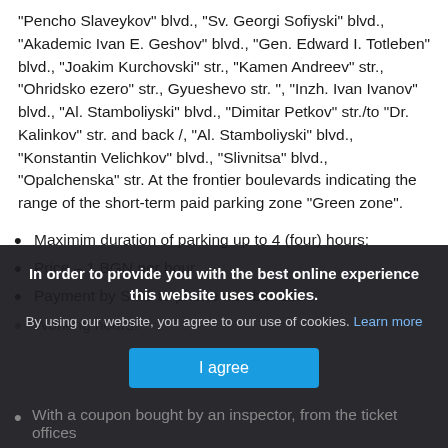"Pencho Slaveykov" blvd., "Sv. Georgi Sofiyski" blvd., "Akademic Ivan E. Geshov" blvd., "Gen. Edward I. Totleben" blvd., "Joakim Kurchovski" str., "Kamen Andreev" str., "Ohridsko ezero" str., Gyueshevo str. ", "Inzh. Ivan Ivanov" blvd., "Al. Stamboliyski" blvd., "Dimitar Petkov" str./to "Dr. Kalinkov" str. and back /, "Al. Stamboliyski" blvd., "Konstantin Velichkov" blvd., "Slivnitsa" blvd., "Opalchenska" str. At the frontier boulevards indicating the range of the short-term paid parking zone "Green zone".
Maximim duration of parking up to 4 (four) hours;
Price – 1 BGN per hour
Payment by SMS to phone number 1303
Working hours:
[Figure (screenshot): Cookie consent overlay with dark background. Top text: 'In order to provide you with the best online experience this website uses cookies.' Below: 'By using our website, you agree to our use of cookies. Learn more' and a blue 'I agree' button.]
With a coupon bought by an inspector, from the ticket offices